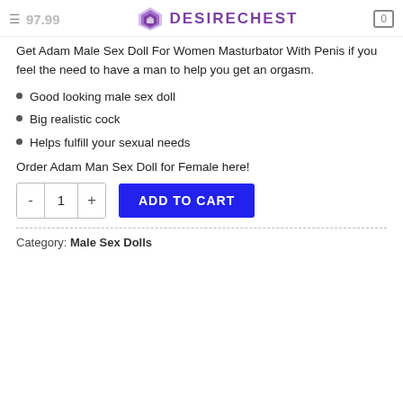≡ 97.99 DESIRECHEST 0
Get Adam Male Sex Doll For Women Masturbator With Penis if you feel the need to have a man to help you get an orgasm.
Good looking male sex doll
Big realistic cock
Helps fulfill your sexual needs
Order Adam Man Sex Doll for Female here!
- 1 + ADD TO CART
Category: Male Sex Dolls